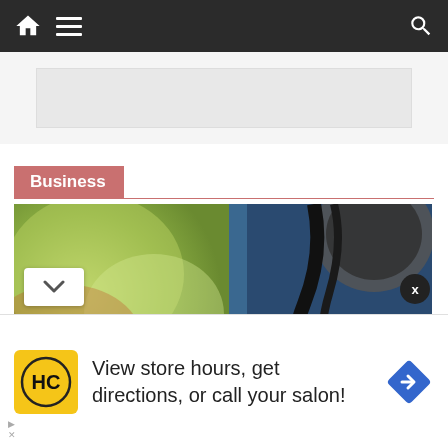Navigation bar with home, menu, and search icons
[Figure (photo): Advertisement banner placeholder (light gray rectangle)]
Business
[Figure (photo): Close-up photo of an electric utility meter with a digital reading display showing 5194, mounted on a blue panel with cables. Background shows blurred green trees.]
View store hours, get directions, or call your salon!